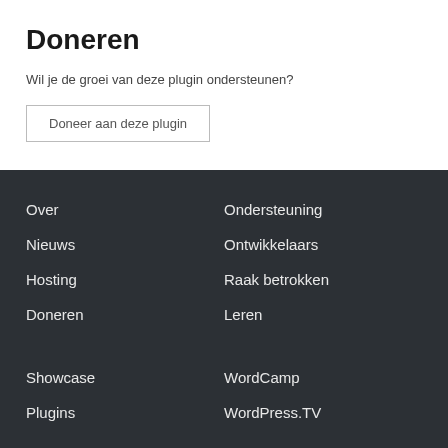Doneren
Wil je de groei van deze plugin ondersteunen?
Doneer aan deze plugin
Over
Ondersteuning
Nieuws
Ontwikkelaars
Hosting
Raak betrokken
Doneren
Leren
Showcase
WordCamp
Plugins
WordPress.TV